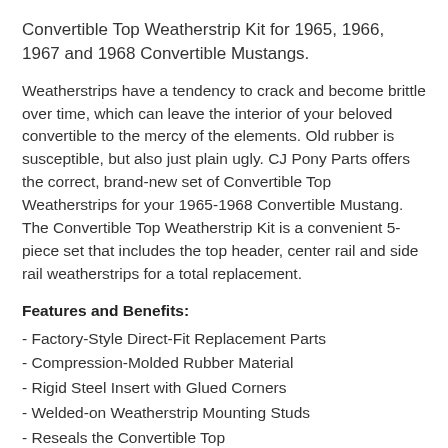Convertible Top Weatherstrip Kit for 1965, 1966, 1967 and 1968 Convertible Mustangs.
Weatherstrips have a tendency to crack and become brittle over time, which can leave the interior of your beloved convertible to the mercy of the elements. Old rubber is susceptible, but also just plain ugly. CJ Pony Parts offers the correct, brand-new set of Convertible Top Weatherstrips for your 1965-1968 Convertible Mustang. The Convertible Top Weatherstrip Kit is a convenient 5-piece set that includes the top header, center rail and side rail weatherstrips for a total replacement.
Features and Benefits:
- Factory-Style Direct-Fit Replacement Parts
- Compression-Molded Rubber Material
- Rigid Steel Insert with Glued Corners
- Welded-on Weatherstrip Mounting Studs
- Reseals the Convertible Top